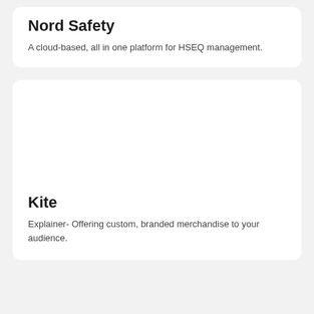Nord Safety
A cloud-based, all in one platform for HSEQ management.
[Figure (other): Empty white image area for Kite card]
Kite
Explainer- Offering custom, branded merchandise to your audience.